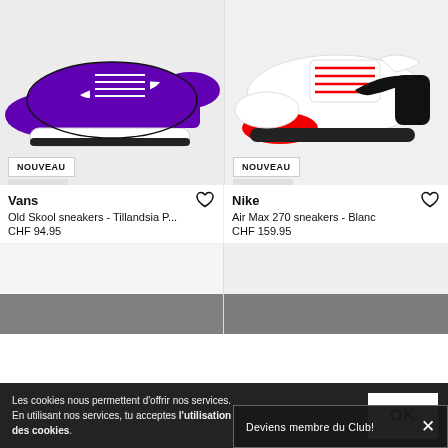[Figure (photo): Purple Vans Old Skool sneakers on white/light grey background with NOUVEAU badge]
[Figure (photo): White Nike Air Max 270 sneakers with red accent and black swoosh on light grey background with NOUVEAU badge]
Vans
Old Skool sneakers - Tillandsia P...
CHF 94.95
Nike
Air Max 270 sneakers - Blanc
CHF 159.95
[Figure (photo): Partially visible product image (bottom left card, content cut off by cookie bar)]
[Figure (photo): Partially visible product image (bottom right card, content cut off by cookie bar)]
Les cookies nous permettent d'offrir nos services. En utilisant nos services, tu acceptes l'utilisation des cookies.
OK
Deviens membre du Club!